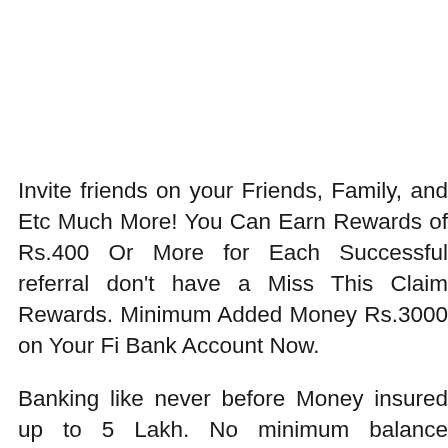Invite friends on your Friends, Family, and Etc Much More! You Can Earn Rewards of Rs.400 Or More for Each Successful referral don't have a Miss This Claim Rewards. Minimum Added Money Rs.3000 on Your Fi Bank Account Now.
Banking like never before Money insured up to 5 Lakh. No minimum balance required, zero forex markup, Swanky Debit Card withdrawal from any ATM Machines. Managing Money has never been easier. Built-in automation assistant, FIT, Helps, develop better money, habits by showing you